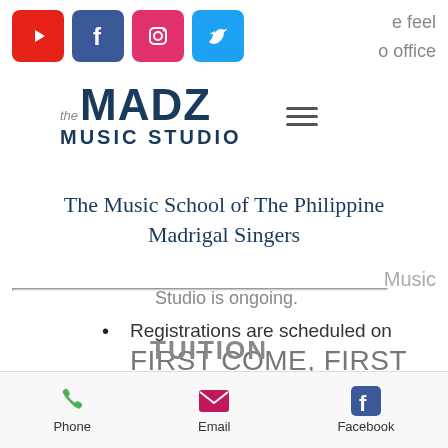[Figure (logo): Social media icons: YouTube (red), Facebook (blue), Instagram (pink), Twitter (light blue)]
e feel
’ office
[Figure (logo): The Madz Music Studio logo with hamburger menu icon]
The Music School of The Philippine Madrigal Singers
Music
Studio is ongoing.
Registrations are scheduled on FIRST COME, FIRST SERVED basis.
TUITION
[Figure (infographic): Contact bar with Phone (green phone icon), Email (pink envelope icon), Facebook (blue Facebook icon)]